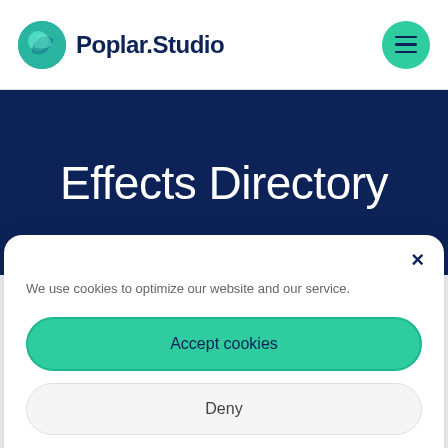Poplar.Studio
Effects Directory
We use cookies to optimize our website and our service.
Accept cookies
Deny
Privacy Notice